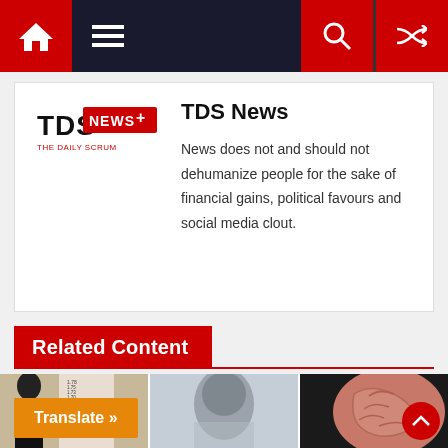TDS News website navigation bar with home, menu, search, and shuffle icons
TDS News
News does not and should not dehumanize people for the sake of financial gains, political favours and social media clout.
Related Content
[Figure (photo): Three thumbnail images for related content articles: a person against a height chart, a blurred face, and a 3D brain model]
Translate »